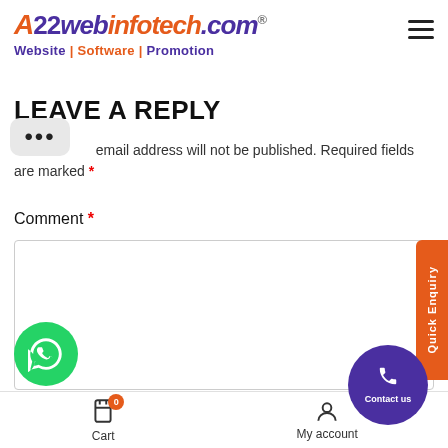[Figure (logo): A22webinfotech.com logo with tagline 'Website | Software | Promotion']
LEAVE A REPLY
Your email address will not be published. Required fields are marked *
Comment *
[Figure (screenshot): Comment text area input box]
[Figure (infographic): Quick Enquiry vertical tab on right side]
[Figure (infographic): Contact us circular button]
[Figure (infographic): WhatsApp circular button]
Cart   My account